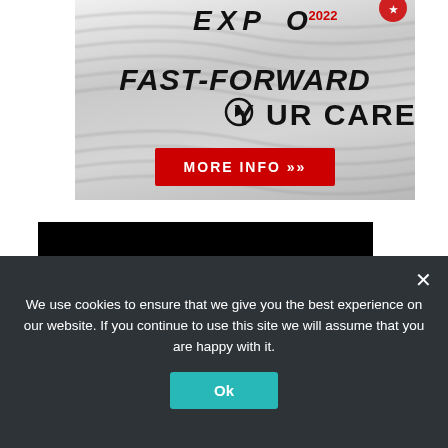[Figure (illustration): EXPO 2022 banner ad with wavy grey background. Large bold italic text: FAST-FORWARD YOUR CAREER. Red MORE INFO button with forward arrows.]
[Figure (illustration): Black subscription panel with red bold SUBSCRIBE text and grey subtext: Receive MBA News direct to your Inbox.]
We use cookies to ensure that we give you the best experience on our website. If you continue to use this site we will assume that you are happy with it.